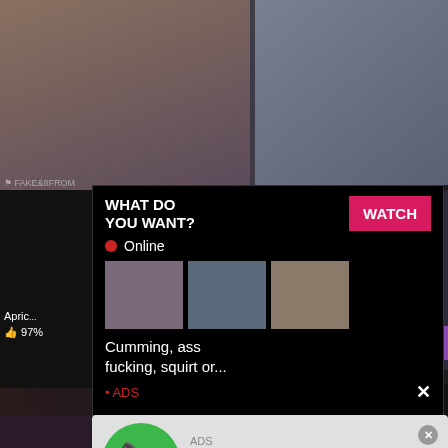[Figure (screenshot): Adult website screenshot with explicit thumbnail images in background]
WHAT DO YOU WANT?
WATCH
Online
Cumming, ass fucking, squirt or...
• ADS
ADS
(1)Missed Call from Eliza
pleeease call me back.. I miss you!
0:00
3:23